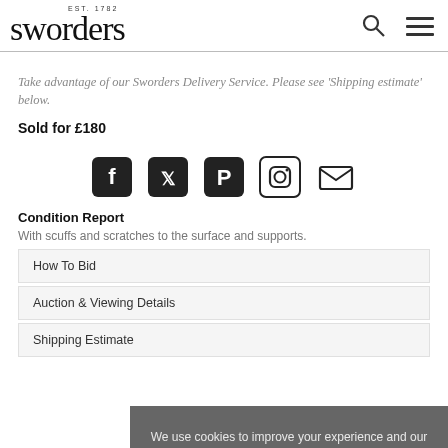sworders EST. 1782
Take advantage of our Sworders Delivery Service. Please see 'Shipping estimate' below.
Sold for £180
[Figure (other): Social media icons: Facebook, Twitter, Pinterest, Instagram, Email]
Condition Report
With scuffs and scratches to the surface and supports.
How To Bid
Auction & Viewing Details
Shipping Estimate
We use cookies to improve your experience and our service. To accept cookies continue browsing as normal. Read our Cookie Policy for more information.
Ok